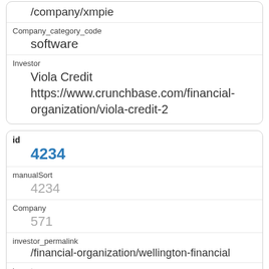| Company_category_code |  |
|  | software |
| Investor |  |
|  | Viola Credit https://www.crunchbase.com/financial-organization/viola-credit-2 |
| id |  |
|  | 4234 |
| manualSort |  |
|  | 4234 |
| Company |  |
|  | 571 |
| investor_permalink |  |
|  | /financial-organization/wellington-financial |
| investor_name |  |
|  | Wellington Financial |
| investor_category_code |  |
| investor_country_code |  |